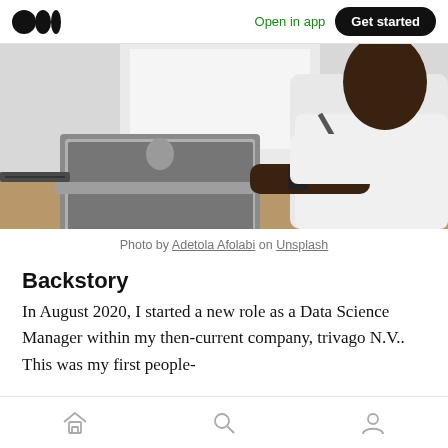Open in app  Get started
[Figure (photo): A Black man in a white shirt and suspenders sitting at a wooden desk, working on a MacBook laptop. A whiteboard and window are visible in the background.]
Photo by Adetola Afolabi on Unsplash
Backstory
In August 2020, I started a new role as a Data Science Manager within my then-current company, trivago N.V.. This was my first people-
Home  Search  Profile